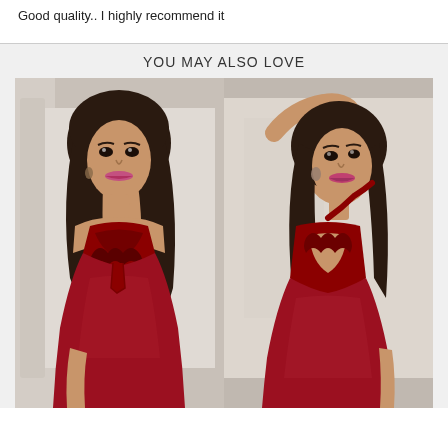Good quality.. I highly recommend it
[Figure (photo): Two product photos of a woman modeling a red lace halter babydoll lingerie dress. Left photo shows front view, right photo shows back view. Background appears to be an elegant interior setting.]